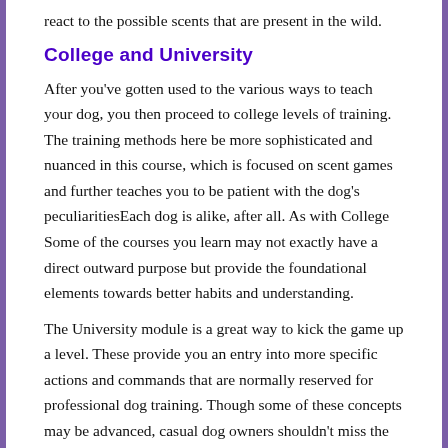react to the possible scents that are present in the wild.
College and University
After you've gotten used to the various ways to teach your dog, you then proceed to college levels of training. The training methods here be more sophisticated and nuanced in this course, which is focused on scent games and further teaches you to be patient with the dog's peculiaritiesEach dog is alike, after all. As with College Some of the courses you learn may not exactly have a direct outward purpose but provide the foundational elements towards better habits and understanding.
The University module is a great way to kick the game up a level. These provide you an entry into more specific actions and commands that are normally reserved for professional dog training. Though some of these concepts may be advanced, casual dog owners shouldn't miss the chance to teach their dogs simple and